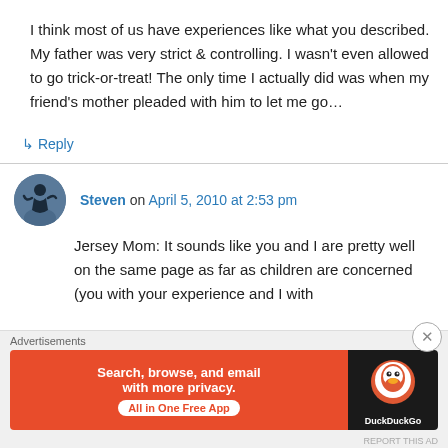I think most of us have experiences like what you described. My father was very strict & controlling. I wasn't even allowed to go trick-or-treat! The only time I actually did was when my friend's mother pleaded with him to let me go…
↳ Reply
Steven on April 5, 2010 at 2:53 pm
Jersey Mom: It sounds like you and I are pretty well on the same page as far as children are concerned (you with your experience and I with
Advertisements
[Figure (screenshot): DuckDuckGo advertisement banner: orange background with text 'Search, browse, and email with more privacy. All in One Free App' and DuckDuckGo logo on dark background]